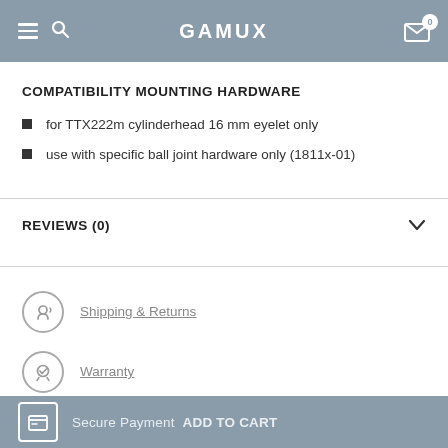GAMUX
COMPATIBILITY MOUNTING HARDWARE
for TTX222m cylinderhead 16 mm eyelet only
use with specific ball joint hardware only (1811x-01)
REVIEWS (0)
Shipping & Returns
Warranty
Secure Payment ADD TO CART